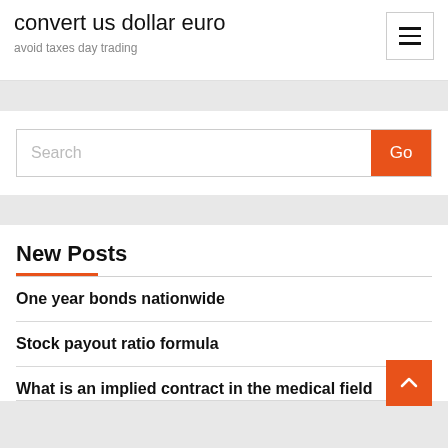convert us dollar euro
avoid taxes day trading
Search
Go
New Posts
One year bonds nationwide
Stock payout ratio formula
What is an implied contract in the medical field